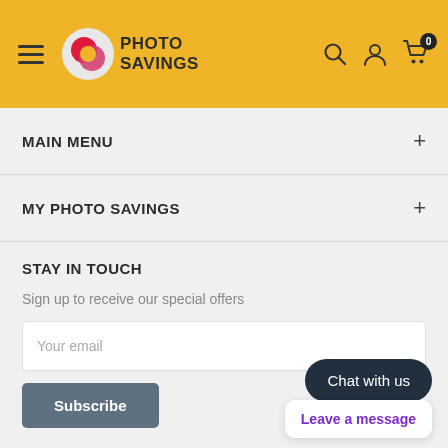[Figure (logo): Photo Savings logo with yellow header background, hamburger menu, logo circle with S, search icon, user icon, cart icon with badge 0]
MAIN MENU
MY PHOTO SAVINGS
STAY IN TOUCH
Sign up to receive our special offers
Your email
Subscribe
Chat with us
Leave a message